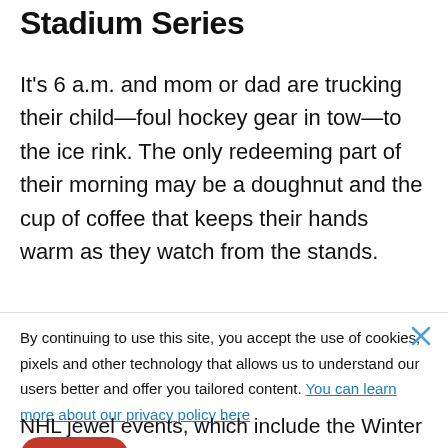Stadium Series
It's 6 a.m. and mom or dad are trucking their child—foul hockey gear in tow—to the ice rink. The only redeeming part of their morning may be a doughnut and the cup of coffee that keeps their hands warm as they watch from the stands.
By continuing to use this site, you accept the use of cookies, pixels and other technology that allows us to understand our users better and offer you tailored content. You can learn more about our privacy policy here
NHL jewel events, which include the Winter